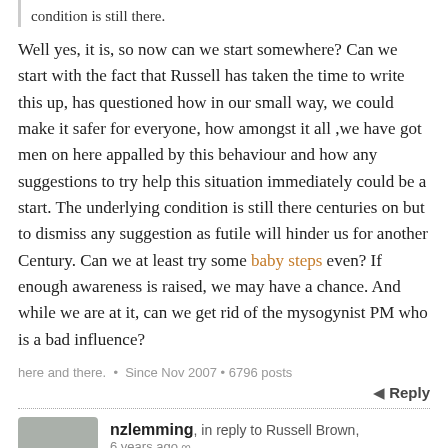condition is still there.
Well yes, it is, so now can we start somewhere? Can we start with the fact that Russell has taken the time to write this up, has questioned how in our small way, we could make it safer for everyone, how amongst it all ,we have got men on here appalled by this behaviour and how any suggestions to try help this situation immediately could be a start. The underlying condition is still there centuries on but to dismiss any suggestion as futile will hinder us for another Century. Can we at least try some baby steps even? If enough awareness is raised, we may have a chance. And while we are at it, can we get rid of the mysogynist PM who is a bad influence?
here and there.  •  Since Nov 2007  •  6796 posts
Reply
nzlemming, in reply to Russell Brown, 6 years ago
That's why I was surprised when you were so...